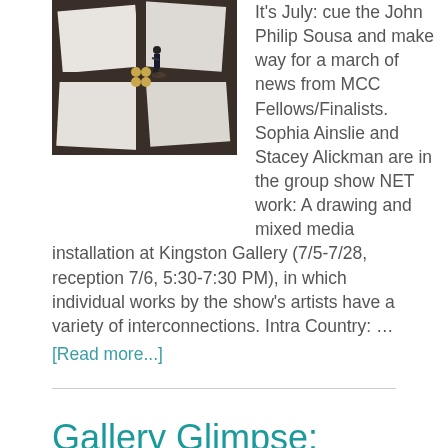[Figure (photo): Overhead view of a figure standing on large white panels in dark wooden frames, viewed from above]
It's July: cue the John Philip Sousa and make way for a march of news from MCC Fellows/Finalists. Sophia Ainslie and Stacey Alickman are in the group show NET work: A drawing and mixed media installation at Kingston Gallery (7/5-7/28, reception 7/6, 5:30-7:30 PM), in which individual works by the show's artists have a variety of interconnections. Intra Country: … [Read more...]
Gallery Glimpse: Nick Rodrigues